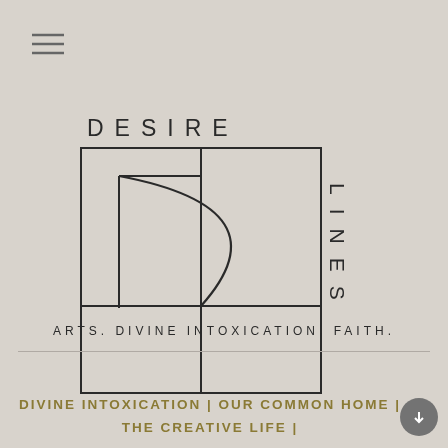[Figure (logo): Hamburger menu icon with three horizontal lines]
[Figure (logo): Desire Lines logo with geometric box design containing a D shape made of rectangles and a quarter circle, with 'DESIRE' text horizontally above and 'LINES' text vertically on the right side]
ARTS. DIVINE INTOXICATION. FAITH.
DIVINE INTOXICATION | OUR COMMON HOME | THE CREATIVE LIFE |